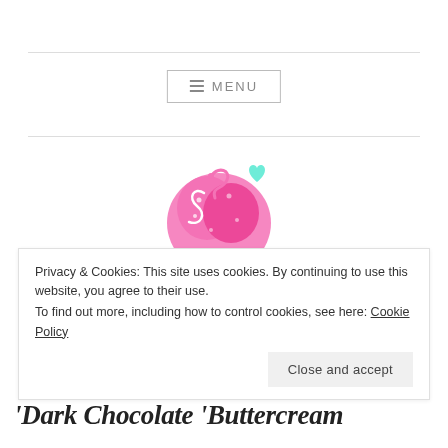MENU
[Figure (logo): SugarB bakery logo — an ornate pink letter 'S' and 'B' styled as cupcake frosting with a mint green heart, above a dark cupcake base and pink cursive 'SugarB' text]
Privacy & Cookies: This site uses cookies. By continuing to use this website, you agree to their use.
To find out more, including how to control cookies, see here: Cookie Policy
'Dark Chocolate 'Buttercream